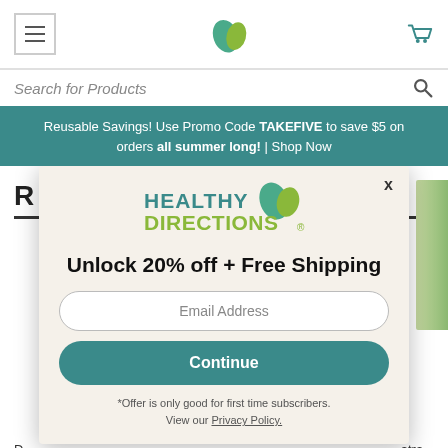Navigation header with hamburger menu, Healthy Directions leaf logo, and cart icon
Search for Products
Reusable Savings! Use Promo Code TAKEFIVE to save $5 on orders all summer long! | Shop Now
[Figure (screenshot): Modal popup overlay with Healthy Directions logo, email signup form offering 20% off + Free Shipping, email input field, Continue button, and fine print]
Unlock 20% off + Free Shipping
Email Address
Continue
*Offer is only good for first time subscribers.
View our Privacy Policy.